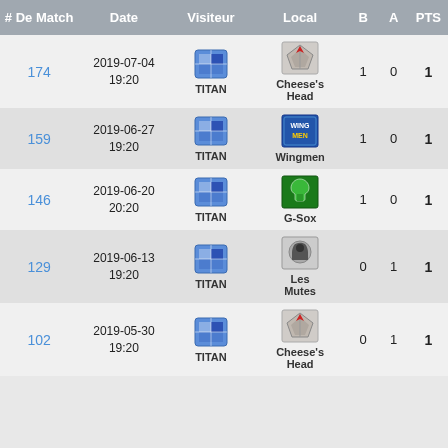| # De Match | Date | Visiteur | Local | B | A | PTS |
| --- | --- | --- | --- | --- | --- | --- |
| 174 | 2019-07-04 19:20 | TITAN | Cheese's Head | 1 | 0 | 1 |
| 159 | 2019-06-27 19:20 | TITAN | Wingmen | 1 | 0 | 1 |
| 146 | 2019-06-20 20:20 | TITAN | G-Sox | 1 | 0 | 1 |
| 129 | 2019-06-13 19:20 | TITAN | Les Mutes | 0 | 1 | 1 |
| 102 | 2019-05-30 19:20 | TITAN | Cheese's Head | 0 | 1 | 1 |